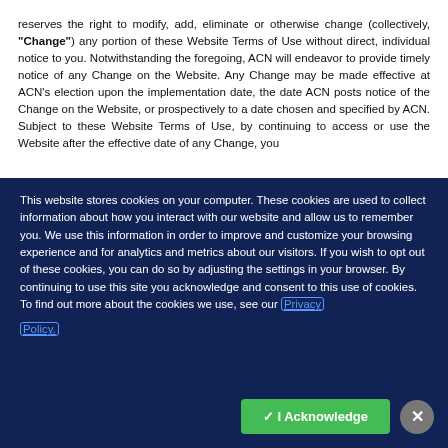reserves the right to modify, add, eliminate or otherwise change (collectively, "Change") any portion of these Website Terms of Use without direct, individual notice to you. Notwithstanding the foregoing, ACN will endeavor to provide timely notice of any Change on the Website. Any Change may be made effective at ACN's election upon the implementation date, the date ACN posts notice of the Change on the Website, or prospectively to a date chosen and specified by ACN. Subject to these Website Terms of Use, by continuing to access or use the Website after the effective date of any Change, you
This website stores cookies on your computer. These cookies are used to collect information about how you interact with our website and allow us to remember you. We use this information in order to improve and customize your browsing experience and for analytics and metrics about our visitors. If you wish to opt out of these cookies, you can do so by adjusting the settings in your browser. By continuing to use this site you acknowledge and consent to this use of cookies. To find out more about the cookies we use, see our Privacy Policy.